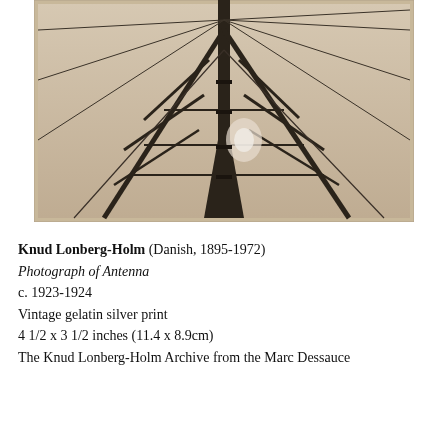[Figure (photo): Black and white vintage photograph looking up at an antenna tower structure with metal struts, cables and diagonal supports converging toward the top, shot from below against a light sky.]
Knud Lonberg-Holm (Danish, 1895-1972)
Photograph of Antenna
c. 1923-1924
Vintage gelatin silver print
4 1/2 x 3 1/2 inches (11.4 x 8.9cm)
The Knud Lonberg-Holm Archive from the Marc Dessauce